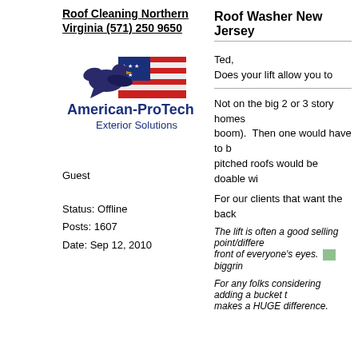Roof Cleaning Northern Virginia (571) 250 9650
[Figure (logo): American-ProTech Exterior Solutions logo with eagle and American flag design]
Guest
Status: Offline
Posts: 1607
Date: Sep 12, 2010
Roof Washer New Jersey
Ted,
Does your lift allow you to
Not on the big 2 or 3 story homes boom). Then one would have to b pitched roofs would be doable wi
For our clients that want the back
The lift is often a good selling point/differe front of everyone's eyes. biggrin
For any folks considering adding a bucket t makes a HUGE difference.